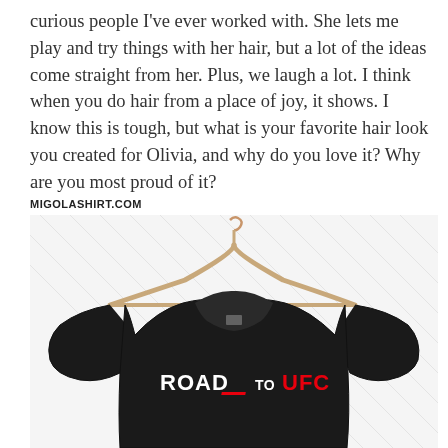curious people I've ever worked with. She lets me play and try things with her hair, but a lot of the ideas come straight from her. Plus, we laugh a lot. I think when you do hair from a place of joy, it shows. I know this is tough, but what is your favorite hair look you created for Olivia, and why do you love it? Why are you most proud of it?
MIGOLASHIRT.COM
[Figure (photo): A black t-shirt with 'ROAD TO UFC' printed on the chest in white and red lettering, hanging on a wooden clothes hanger against a white background with diagonal watermark lines.]